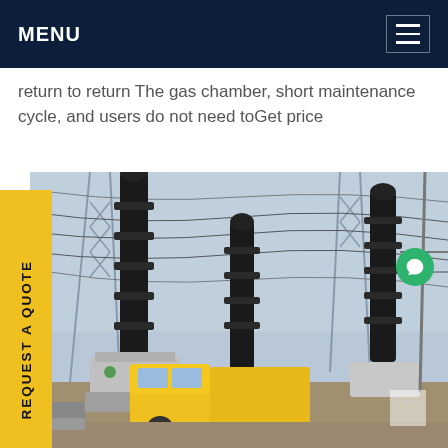MENU
return to return The gas chamber, short maintenance cycle, and users do not need toGet price
REQUEST A QUOTE
[Figure (photo): Outdoor high-voltage electrical substation with tall dark insulators/bushings, overhead transmission lines, and a yellow utility truck. Complex steel lattice support structures visible against a hazy sky.]